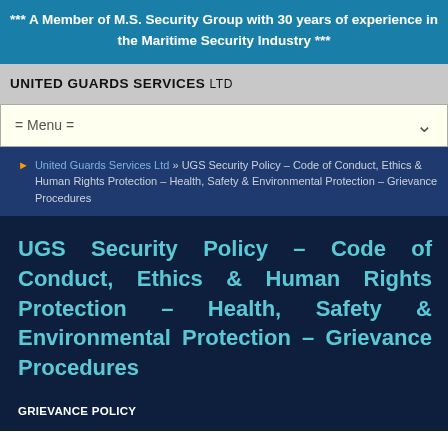*** A Member of M.S. Security Group with 30 years of experience in the Maritime Security Industry ***
[Figure (logo): United Guards Services Ltd logo and company name header on grey background]
= Menu =
United Guards Services Ltd » UGS Security Policy – Code of Conduct, Ethics & Human Rights Protection – Health, Safety & Environmental Protection – Grievance Procedures
UGS Security Policy – Code of Conduct, Ethics & Human Rights Protection – Health, Safety & Environmental Protection – Grievance Procedures
GRIEVANCE POLICY